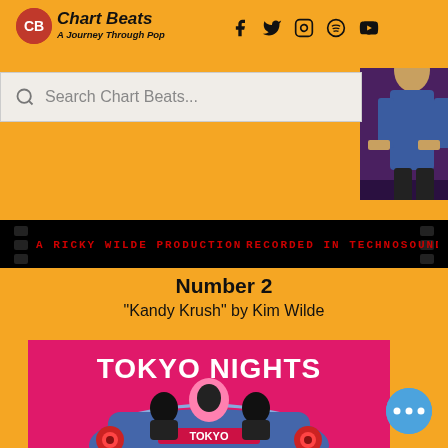Chart Beats — A Journey Through Pop
Search Chart Beats...
[Figure (screenshot): Film strip banner: 'A RICKY WILDE PRODUCTION  RECORDED IN TECHNOSOUND']
Number 2
"Kandy Krush" by Kim Wilde
[Figure (photo): TOKYO NIGHTS album/movie cover art showing two people in a convertible car from behind on a pink background, with 'TOKYO NIGHTS' text at top and 'TOKYO' on the car]
[Figure (other): Blue circular button with three dots (more options)]